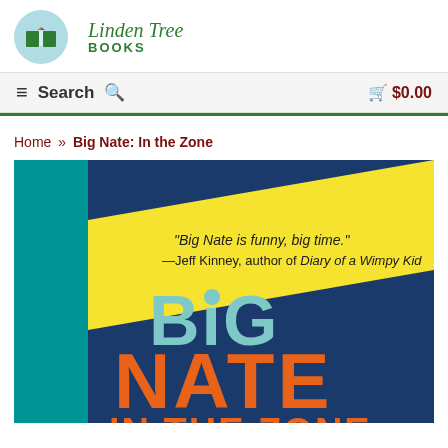[Figure (logo): Linden Tree Books logo: circular teal icon with open book, green cursive name 'Linden Tree' and bold green 'BOOKS' text]
≡  Search 🔍    🛒 $0.00
Home » Big Nate: In the Zone
[Figure (photo): Book cover of 'Big Nate: In the Zone' — dark blue background, yellow diagonal banner reading '"Big Nate is funny, big time." —Jeff Kinney, author of Diary of a Wimpy Kid', large light-blue text 'BiG' and large orange text 'NATE' with teal spine on left, and partially visible orange text 'IN THE ZONE' at bottom]